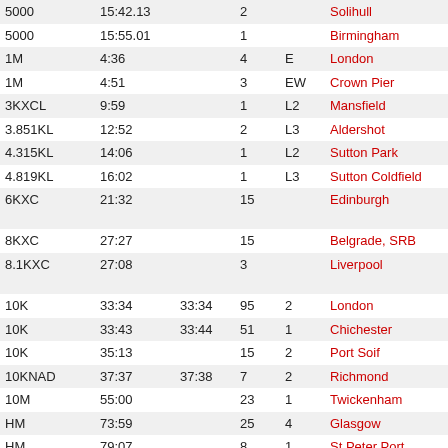| Event | Time | Chip | Pos | Team | Venue | Race |
| --- | --- | --- | --- | --- | --- | --- |
| 5000 | 15:42.13 |  | 2 |  | Solihull | BMC Gran... |
| 5000 | 15:55.01 |  | 1 |  | Birmingham | Sainsbury's... |
| 1M | 4:36 |  | 4 | E | London | Westminster... |
| 1M | 4:51 |  | 3 | EW | Crown Pier | Guernsey I... |
| 3KXCL | 9:59 |  | 1 | L2 | Mansfield | ECCA Nati... |
| 3.851KL | 12:52 |  | 2 | L3 | Aldershot | Southern W... |
| 4.315KL | 14:06 |  | 1 | L2 | Sutton Park | ERRA Wor... |
| 4.819KL | 16:02 |  | 1 | L3 | Sutton Coldfield | ERRA Wor... |
| 6KXC | 21:32 |  | 15 |  | Edinburgh | Great Edin... District Cha... |
| 8KXC | 27:27 |  | 15 |  | Belgrade, SRB | European C... |
| 8.1KXC | 27:08 |  | 3 |  | Liverpool | British Athl... Trials) |
| 10K | 33:34 | 33:34 | 95 | 2 | London | Bupa Lond... |
| 10K | 33:43 | 33:44 | 51 | 1 | Chichester | Chichester... |
| 10K | 35:13 |  | 15 | 2 | Port Soif | KPMG Gue... |
| 10KNAD | 37:37 | 37:38 | 7 | 2 | Richmond | Richmond... |
| 10M | 55:00 |  | 23 | 1 | Twickenham | Cabbage P... |
| HM | 73:59 |  | 25 | 4 | Glasgow | Bank of Sc... |
| HM | 79:07 |  | 8 | 1 | St Peter Port | KPMG Gue... |
| ZXC | 18:58 |  | 7 |  | Antrim | McCain UK... Champs) |
| ZXC | 25:58 |  | 40 |  | Bydgoszcz, POL | IAAF World... |
| ZXC | 26:36 |  | 11 | 1 | L'Ancresse | Guernsey I... |
| ZXC | 27:30 |  | 5 |  | Birmingham | CAU Inter c... |
| ZXC | 29:01 |  | 2 |  | Parliament Hill | Southern... |